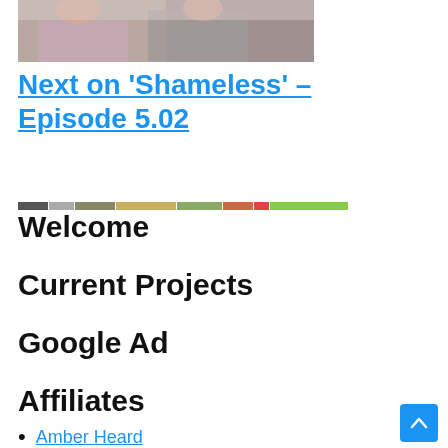[Figure (photo): A partial photo showing two people, likely a still from the TV show Shameless, cropped at top of page.]
Next on 'Shameless' – Episode 5.02
[Figure (infographic): A narrow horizontal color bar strip with multiple colored segments (dark, tan, green, orange, red, light green).]
Welcome
Current Projects
Google Ad
Affiliates
Amber Heard
Amy Acker